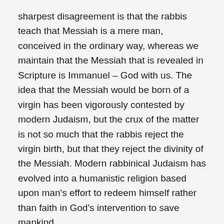sharpest disagreement is that the rabbis teach that Messiah is a mere man, conceived in the ordinary way, whereas we maintain that the Messiah that is revealed in Scripture is Immanuel – God with us. The idea that the Messiah would be born of a virgin has been vigorously contested by modern Judaism, but the crux of the matter is not so much that the rabbis reject the virgin birth, but that they reject the divinity of the Messiah. Modern rabbinical Judaism has evolved into a humanistic religion based upon man's effort to redeem himself rather than faith in God's intervention to save mankind.
The modern ideas of the Messiah were influenced by rationalism, a system of philosophy that denies the supernatural. Victor Buksbazen, a Hebrew-Christian scholar, wrote: “In the final analysis, the question of the virgin birth of Messiah resolves itself in the question whether we believe in God, what kind of God we believe in